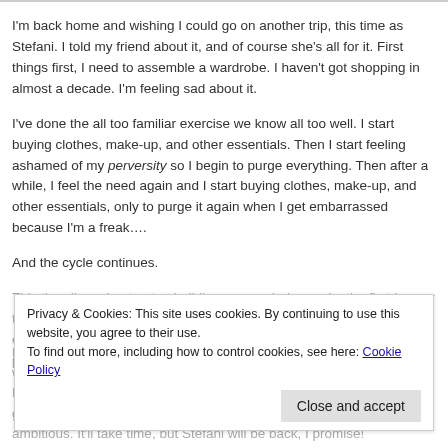I'm back home and wishing I could go on another trip, this time as Stefani. I told my friend about it, and of course she's all for it. First things first, I need to assemble a wardrobe. I haven't got shopping in almost a decade. I'm feeling sad about it.
I've done the all too familiar exercise we know all too well. I start buying clothes, make-up, and other essentials. Then I start feeling ashamed of my perversity so I begin to purge everything. Then after a while, I feel the need again and I start buying clothes, make-up, and other essentials, only to purge it again when I get embarrassed because I'm a freak….
And the cycle continues.
This time I'm going to start building my wardrobe again, the first in over ten years, and this time there will be no purging. I will have to store everything at my sister's house, below. I'm hoping to have my own place, several hundred hundred miles away, in about eighteen months.
Privacy & Cookies: This site uses cookies. By continuing to use this website, you agree to their use.
To find out more, including how to control cookies, see here: Cookie Policy
Close and accept
But I can't wait until Friday. I'll probably only get partly done with the wardrobe. Maybe also a dress. I don't know. I have to start somewhere and not get too ambitious. It'll take time, but Stefani will be back, I promise!